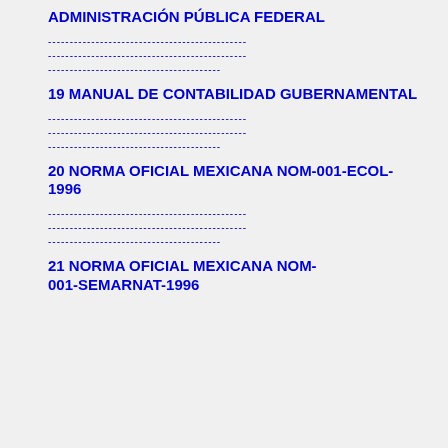ADMINISTRACIÓN PÚBLICA FEDERAL
----------------------------------------------
----------------------------------------------
----------------------------------------
19 MANUAL DE CONTABILIDAD GUBERNAMENTAL
----------------------------------------------
----------------------------------------------
----------------------------------------
20 NORMA OFICIAL MEXICANA NOM-001-ECOL-1996
----------------------------------------------
----------------------------------------------
----------------------------------------
21 NORMA OFICIAL MEXICANA NOM-